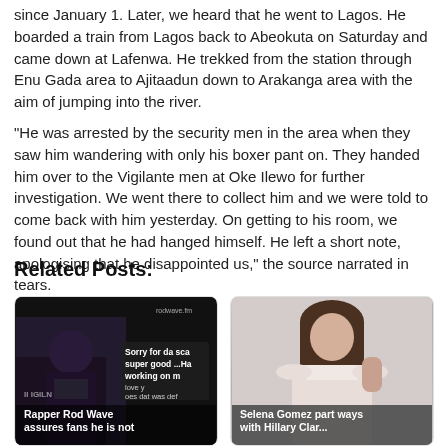since January 1. Later, we heard that he went to Lagos. He boarded a train from Lagos back to Abeokuta on Saturday and came down at Lafenwa. He trekked from the station through Enu Gada area to Ajitaadun down to Arakanga area with the aim of jumping into the river.
"He was arrested by the security men in the area when they saw him wandering with only his boxer pant on. They handed him over to the Vigilante men at Oke Ilewo for further investigation. We went there to collect him and we were told to come back with him yesterday. On getting to his room, we found out that he had hanged himself. He left a short note, apologising that he disappointed us," the source narrated in tears.
Related Posts:
[Figure (photo): Dark photo of a rapper (Rod Wave) in dark clothing, with a social media text overlay reading 'Sorry for da sca super good ...Ha working on m love y oes dat was de song'. Caption overlay reads 'Rapper Rod Wave assures fans he is not']
[Figure (photo): Photo of Selena Gomez in a light pink off-shoulder top, looking to the side. Caption overlay reads 'Selena Gomez part ways with Hillary Clar...']